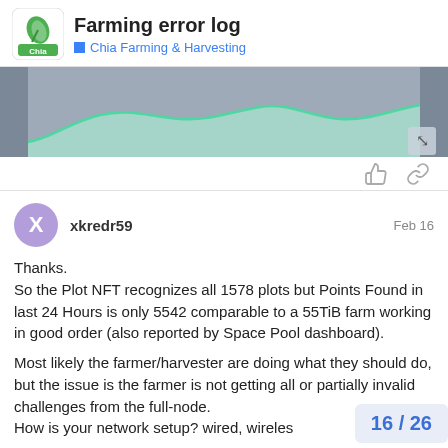Farming error log — Chia Farming & Harvesting
[Figure (area-chart): A green area chart showing some metric over time with a wavy line and teal/green fill, on a gray background.]
xkredr59  Feb 16
Thanks.
So the Plot NFT recognizes all 1578 plots but Points Found in last 24 Hours is only 5542 comparable to a 55TiB farm working in good order (also reported by Space Pool dashboard).

Most likely the farmer/harvester are doing what they should do, but the issue is the farmer is not getting all or partially invalid challenges from the full-node.
How is your network setup? wired, wireles
16 / 26